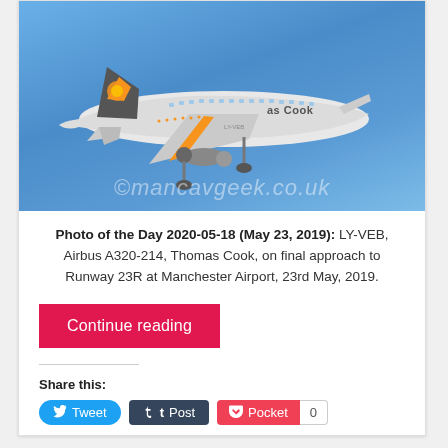[Figure (photo): Thomas Cook Airbus A320-214 aircraft (registration LY-VEB) in flight against a blue sky, on final approach. The plane has white fuselage with orange and grey livery, Thomas Cook branding visible on tail and fuselage. Watermark reads ©mancavgeek.co.uk]
Photo of the Day 2020-05-18 (May 23, 2019): LY-VEB, Airbus A320-214, Thomas Cook, on final approach to Runway 23R at Manchester Airport, 23rd May, 2019.
Continue reading
Share this:
Tweet  Post  Pocket  0